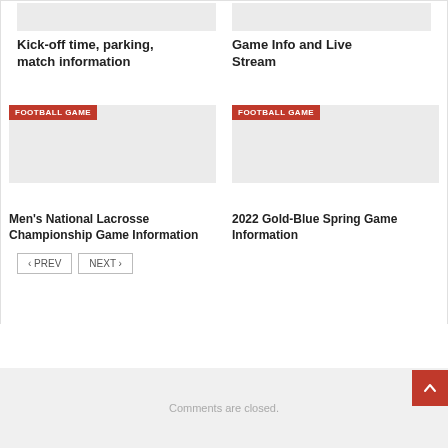Kick-off time, parking, match information
Game Info and Live Stream
[Figure (photo): Grey image placeholder for football game card - top left]
[Figure (photo): Grey image placeholder for football game card - top right]
FOOTBALL GAME
FOOTBALL GAME
Men's National Lacrosse Championship Game Information
2022 Gold-Blue Spring Game Information
< PREV
NEXT >
Comments are closed.